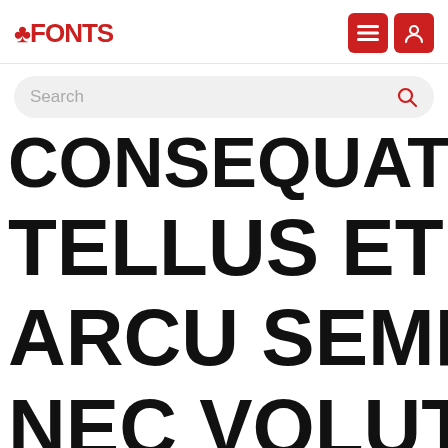FFONTS
[Figure (screenshot): Search bar with placeholder text 'Search' and a red search icon on the right]
CONSEQUAT
TELLUS ET
ARCU SEMPER
NEC VOLUTPA